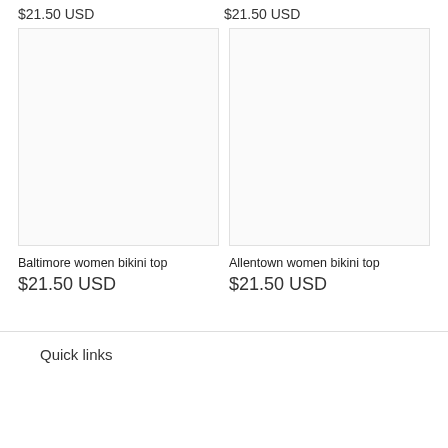$21.50 USD
$21.50 USD
[Figure (photo): Empty product image placeholder for Baltimore women bikini top]
[Figure (photo): Empty product image placeholder for Allentown women bikini top]
Baltimore women bikini top
$21.50 USD
Allentown women bikini top
$21.50 USD
Quick links